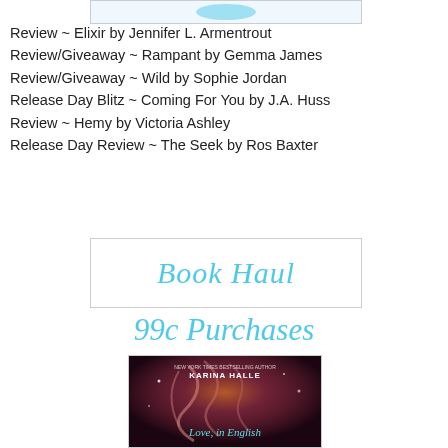[Figure (other): Partial top image, cropped]
Review ~ Elixir by Jennifer L. Armentrout
Review/Giveaway ~ Rampant by Gemma James
Review/Giveaway ~ Wild by Sophie Jordan
Release Day Blitz ~ Coming For You by J.A. Huss
Review ~ Hemy by Victoria Ashley
Release Day Review ~ The Seek by Ros Baxter
[Figure (other): Book Haul banner with italic cyan text]
99c Purchases
[Figure (photo): Book cover: Love, in English by Karina Halle — dark background with woman with flowing hair and pink/purple tones, handwritten title at bottom]